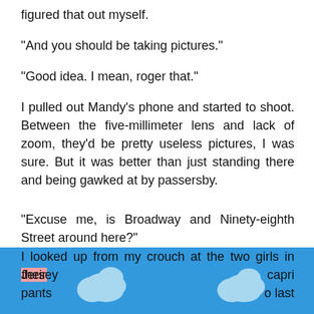figured that out myself.
"And you should be taking pictures."
"Good idea. I mean, roger that."
I pulled out Mandy's phone and started to shoot. Between the five-millimeter lens and lack of zoom, they'd be pretty useless pictures, I was sure. But it was better than just standing there and being gawked at by passersby.
"Excuse me, is Broadway and Ninety-eighth Street around here?"
I looked up from my crouch at the two girls in their Jersey                                                capri pants                                              o last